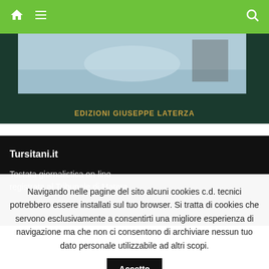Navigation bar with home, menu, and search icons
[Figure (illustration): Book cover image partially visible with publisher name EDIZIONI GIUSEPPE LATERZA on dark green background]
Tursitani.it
Testata giornalistica on-line registrata al Tribunale di Matera
Navigando nelle pagine del sito alcuni cookies c.d. tecnici potrebbero essere installati sul tuo browser. Si tratta di cookies che servono esclusivamente a consentirti una migliore esperienza di navigazione ma che non ci consentono di archiviare nessun tuo dato personale utilizzabile ad altri scopi.
Accetto
Read More